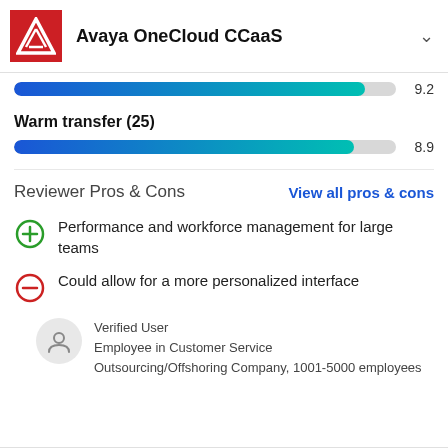Avaya OneCloud CCaaS
[Figure (other): Score bar showing 9.2]
Warm transfer (25)
[Figure (other): Score bar showing 8.9]
Reviewer Pros & Cons
View all pros & cons
Performance and workforce management for large teams
Could allow for a more personalized interface
Verified User
Employee in Customer Service
Outsourcing/Offshoring Company, 1001-5000 employees